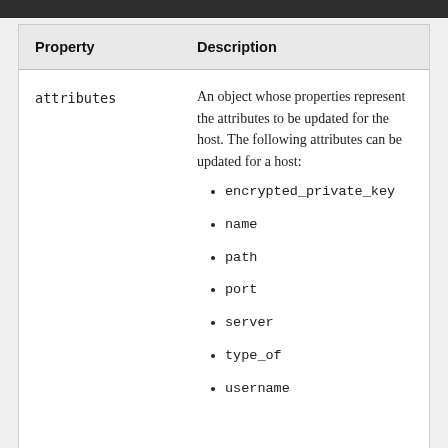| Property | Description |
| --- | --- |
| attributes | An object whose properties represent the attributes to be updated for the host. The following attributes can be updated for a host:
• encrypted_private_key
• name
• path
• port
• server
• type_of
• username |